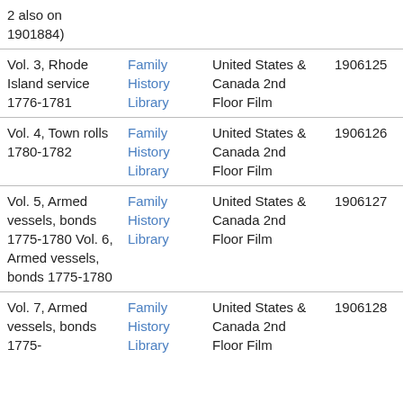| Description | Library | Location | Film#1 | Film#2 |
| --- | --- | --- | --- | --- |
| 2 also on 1901884) |  |  |  |  |
| Vol. 3, Rhode Island service 1776-1781 | Family History Library | United States & Canada 2nd Floor Film | 1906125 | 8092029 |
| Vol. 4, Town rolls 1780-1782 | Family History Library | United States & Canada 2nd Floor Film | 1906126 | 8092030 |
| Vol. 5, Armed vessels, bonds 1775-1780 Vol. 6, Armed vessels, bonds 1775-1780 | Family History Library | United States & Canada 2nd Floor Film | 1906127 | 8092031 |
| Vol. 7, Armed vessels, bonds 1775- | Family History Library | United States & Canada 2nd Floor Film | 1906128 | 8092032 |